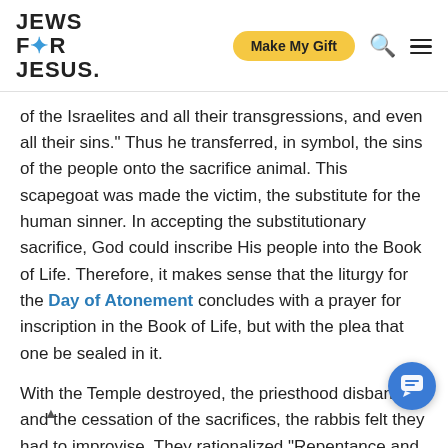JEWS FOR JESUS. | Make My Gift [button] [search icon] [menu icon]
of the Israelites and all their transgressions, and even all their sins." Thus he transferred, in symbol, the sins of the people onto the sacrifice animal. This scapegoat was made the victim, the substitute for the human sinner. In accepting the substitutionary sacrifice, God could inscribe His people into the Book of Life. Therefore, it makes sense that the liturgy for the Day of Atonement concludes with a prayer for inscription in the Book of Life, but with the plea that one be sealed in it.
With the Temple destroyed, the priesthood disbanded, and the cessation of the sacrifices, the rabbis felt they had to improvise. They rationalized "Repentance and works of charity are man's intercessors before God's throne." (Shab. 32a.)